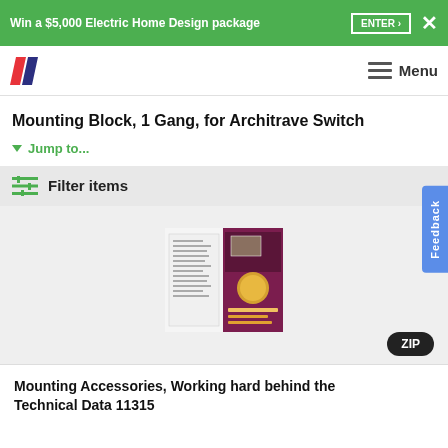Win a $5,000 Electric Home Design package  ENTER >  ✕
[Figure (logo): Stylized double-slash logo in red and dark blue]
Menu
Mounting Block, 1 Gang, for Architrave Switch
▼ Jump to...
Filter items
[Figure (photo): Product thumbnail showing mounting accessories brochure pages with maroon/purple cover]
ZIP
Mounting Accessories, Working hard behind the Technical Data 11315